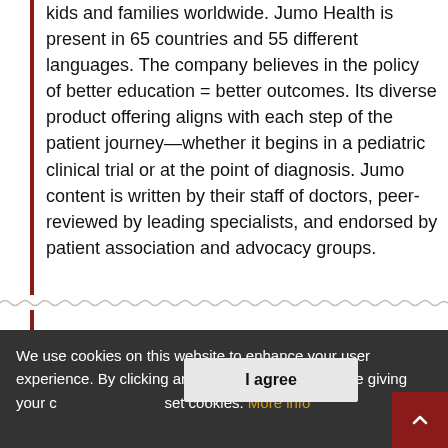kids and families worldwide. Jumo Health is present in 65 countries and 55 different languages. The company believes in the policy of better education = better outcomes. Its diverse product offering aligns with each step of the patient journey—whether it begins in a pediatric clinical trial or at the point of diagnosis. Jumo content is written by their staff of doctors, peer-reviewed by leading specialists, and endorsed by patient association and advocacy groups.
Lumeon
[Figure (logo): Lumeon logo: a geometric heart/diamond shape in purple and blue above the word 'lumeon' in dark gray]
We use cookies on this website to enhance your user experience. By clicking any link on this page you are giving your consent for us to set cookies. More info